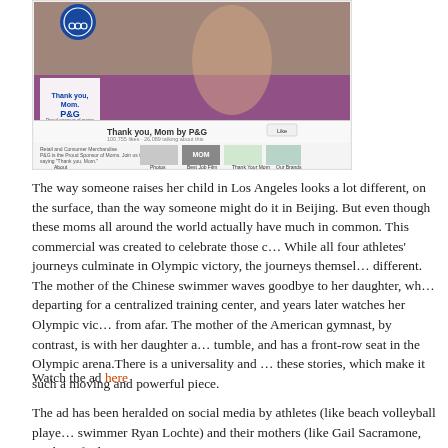[Figure (screenshot): Screenshot of the P&G 'Thank you, Mom' Facebook page, showing a profile photo of a mother hugging an athlete at the Olympics, with the P&G logo and page details visible.]
The way someone raises her child in Los Angeles looks a lot different, on the surface, than the way someone might do it in Beijing. But even though these moms all around the world are different, they actually have much in common. This commercial was created to celebrate those commonalities. While all four athletes' journeys culminate in Olympic victory, the journeys themselves are quite different. The mother of the Chinese swimmer waves goodbye to her daughter, who is departing for a centralized training center, and years later watches her Olympic victory from afar. The mother of the American gymnast, by contrast, is with her daughter at every tumble, and has a front-row seat in the Olympic arena.There is a universality and humanity to these stories, which make it such a moving and powerful piece.
Watch the ad here
The ad has been heralded on social media by athletes (like beach volleyball player and swimmer Ryan Lochte) and their mothers (like Gail Sacramone, mother of Olympi…